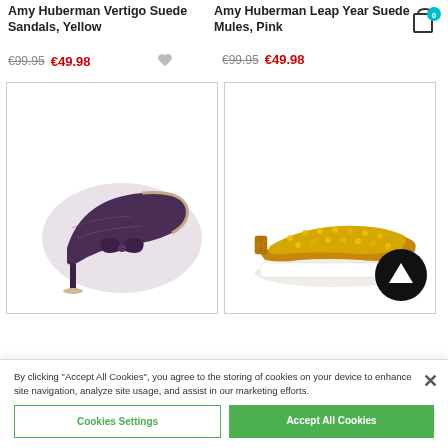Amy Huberman Vertigo Suede Sandals, Yellow
€99.95  €49.98
Amy Huberman Leap Year Suede Mules, Pink
€99.95  €49.98
[Figure (photo): Purple glitter high-heel pump with bow detail]
[Figure (photo): Gold sequin slingback flat sandal with tan leather strap]
By clicking "Accept All Cookies", you agree to the storing of cookies on your device to enhance site navigation, analyze site usage, and assist in our marketing efforts.
Cookies Settings
Accept All Cookies